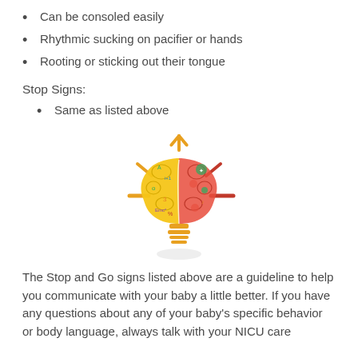Can be consoled easily
Rhythmic sucking on pacifier or hands
Rooting or sticking out their tongue
Stop Signs:
Same as listed above
[Figure (illustration): Light bulb illustration with a brain split into two halves: left half yellow (with letters and numbers) and right half red/pink (with colorful symbols), with orange rays emanating from the top and sides, and orange horizontal lines at the bottom representing the bulb base]
The Stop and Go signs listed above are a guideline to help you communicate with your baby a little better. If you have any questions about any of your baby's specific behavior or body language, always talk with your NICU care